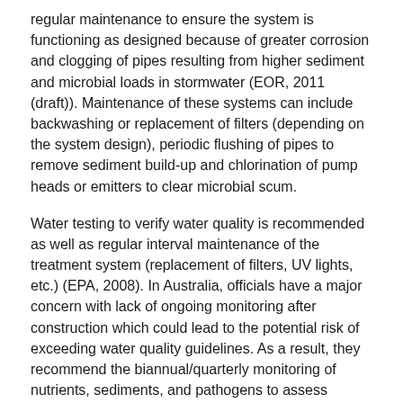regular maintenance to ensure the system is functioning as designed because of greater corrosion and clogging of pipes resulting from higher sediment and microbial loads in stormwater (EOR, 2011 (draft)). Maintenance of these systems can include backwashing or replacement of filters (depending on the system design), periodic flushing of pipes to remove sediment build-up and chlorination of pump heads or emitters to clear microbial scum.
Water testing to verify water quality is recommended as well as regular interval maintenance of the treatment system (replacement of filters, UV lights, etc.) (EPA, 2008). In Australia, officials have a major concern with lack of ongoing monitoring after construction which could lead to the potential risk of exceeding water quality guidelines. As a result, they recommend the biannual/quarterly monitoring of nutrients, sediments, and pathogens to assess stormwater quality for irrigation (EOR, 2011 (draft)).
Many water reuse programs recommend municipal inspections occur during installation and annual inspections of backflow prevention systems. For example, the State of Florida requires filing of annual inspection reports and maintenance logs every